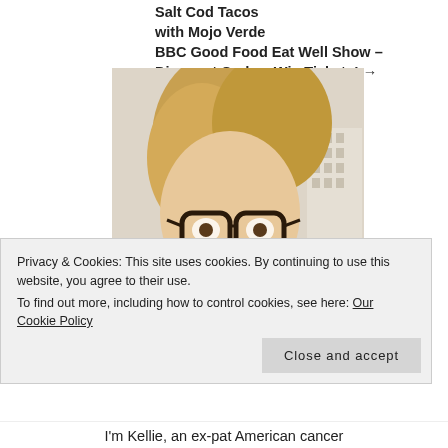Salt Cod Tacos with Mojo Verde BBC Good Food Eat Well Show – Discount Code + Win Tickets! →
[Figure (photo): Close-up portrait photo of a smiling blonde woman with dark-rimmed glasses, with a building visible in the background.]
Privacy & Cookies: This site uses cookies. By continuing to use this website, you agree to their use.
To find out more, including how to control cookies, see here: Our Cookie Policy
Close and accept
I'm Kellie, an ex-pat American cancer